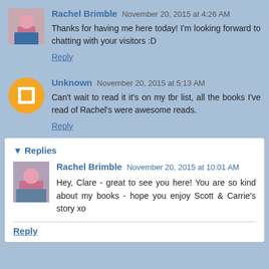Rachel Brimble   November 20, 2015 at 4:26 AM
Thanks for having me here today! I'm looking forward to chatting with your visitors :D
Reply
Unknown   November 20, 2015 at 5:13 AM
Can't wait to read it it's on my tbr list, all the books I've read of Rachel's were awesome reads.
Reply
Replies
Rachel Brimble   November 20, 2015 at 10:01 AM
Hey, Clare - great to see you here! You are so kind about my books - hope you enjoy Scott & Carrie's story xo
Reply